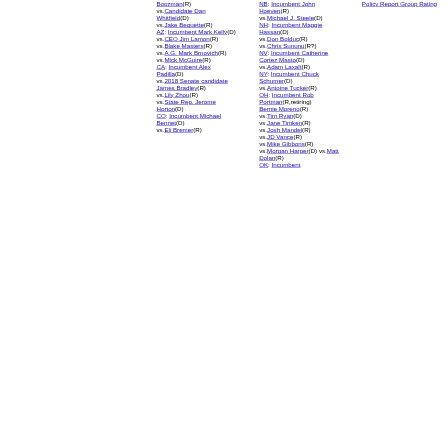Boozman(R) vs.Candidate Dan Whitfield(D) vs.Jake Bequette(R) AZ: Incumbent Mark Kelly(D) vs.CEO Jim Lamon(R) vs.Blake Masters(R) vs.A.G. Mark Brnovich(R) vs.Mick McGuire(R) CA: Incumbent Alex Padilla(D) vs.2018 Senate candidate James Bradley(R) vs.Lily Zhou(R) vs.State Rep. Jerome Horton(D) CO: Incumbent Michael Bennet(D) vs.Eli Bremer(R)
NB: Incumbent John Hoeven(R) vs.Michael J. Steele(D) NH: Incumbent Maggie Hassan(D) vs.Don Bolduc(R) vs.Chris Sununu(R?) NV: Incumbent Catherine Cortez Masto(D) vs.Adam Laxalt(R) NY: Incumbent Chuck Schumer(D) vs.Antoine Tucker(R) OH: Incumbent Rob Portman(R,retiring) Bernie Moreno(R) vs.Tim Ryan(D) vs.Jane Timken(R) vs.Josh Mandel(R) vs.JD Vance(R) vs.Mike Gibbons(R) vs.Morgan Harper(D) vs.Matt Dolan(R) OK: Incumbent
Policy Report Group Rating